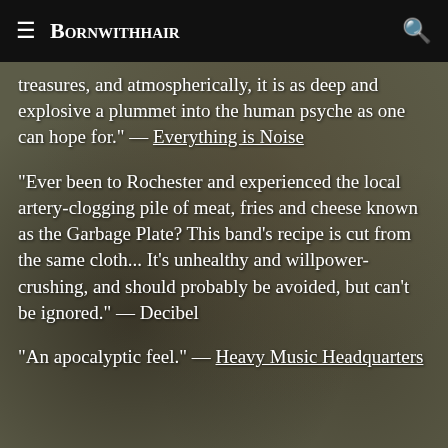Bornwithhair
treasures, and atmospherically, it is as deep and explosive a plummet into the human psyche as one can hope for." — Everything is Noise
"Ever been to Rochester and experienced the local artery-clogging pile of meat, fries and cheese known as the Garbage Plate? This band's recipe is cut from the same cloth... It's unhealthy and willpower-crushing, and should probably be avoided, but can't be ignored." — Decibel
"An apocalyptic feel." — Heavy Music Headquarters